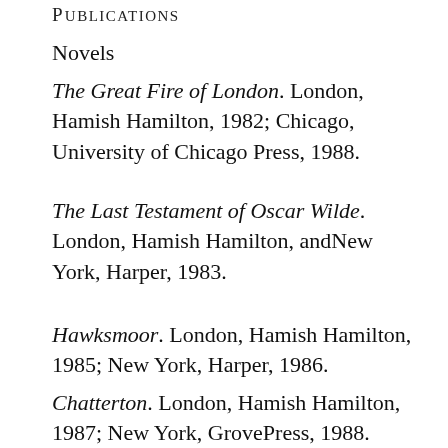Publications
Novels
The Great Fire of London. London, Hamish Hamilton, 1982; Chicago, University of Chicago Press, 1988.
The Last Testament of Oscar Wilde. London, Hamish Hamilton, andNew York, Harper, 1983.
Hawksmoor. London, Hamish Hamilton, 1985; New York, Harper, 1986.
Chatterton. London, Hamish Hamilton, 1987; New York, GrovePress, 1988.